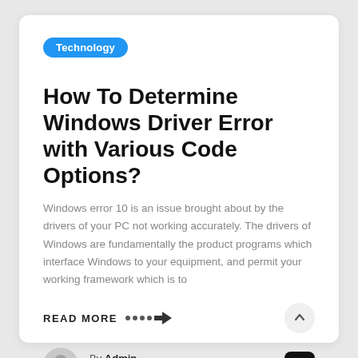Technology
How To Determine Windows Driver Error with Various Code Options?
Windows error 10 is an issue brought about by the drivers of your PC not working accurately. The drivers of Windows are fundamentally the product programs which interface Windows to your equipment, and permit your working framework which is to
READ MORE  ····➤
By Admin
June 19, 2022